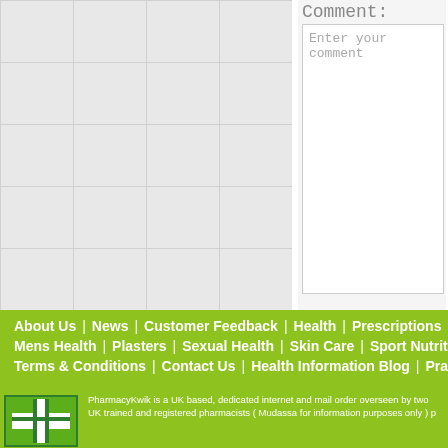[Figure (screenshot): Grid/graph paper background on the left portion of the page, light gray with grid lines]
Comment:
Enter your comment
About Us | News | Customer Feedback | Health | Prescriptions | Mens Health | Plasters | Sexual Health | Skin Care | Sport Nutrition | Terms & Conditions | Contact Us | Health Information Blog | Practice
[Figure (logo): PharmacyKwik logo - green and white cross symbol]
PharmacyKwik is a UK based, dedicated internet and mail order overseen by two UK trained and registered pharmacists ( Mudassa for information purposes only ) p